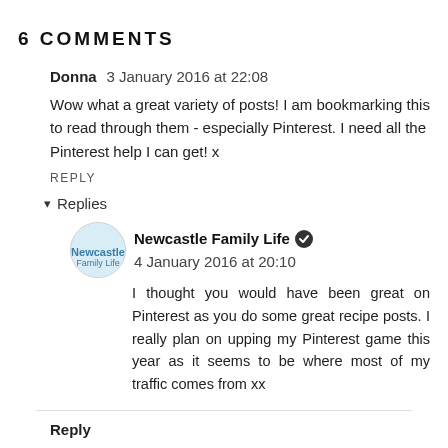6 COMMENTS
Donna  3 January 2016 at 22:08
Wow what a great variety of posts! I am bookmarking this to read through them - especially Pinterest. I need all the Pinterest help I can get! x
REPLY
▾  Replies
Newcastle Family Life ✅  4 January 2016 at 20:10
I thought you would have been great on Pinterest as you do some great recipe posts. I really plan on upping my Pinterest game this year as it seems to be where most of my traffic comes from xx
Reply